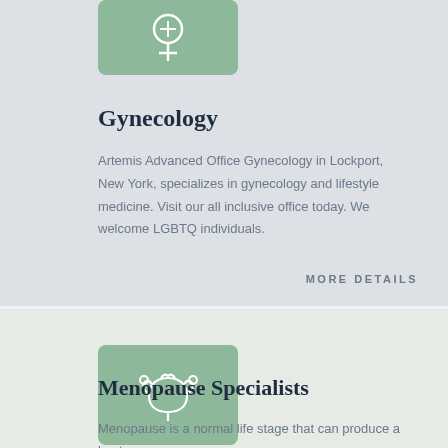[Figure (illustration): Green rounded square icon with a female/Venus medical symbol (circle with cross below and plus sign) in white]
Gynecology
Artemis Advanced Office Gynecology in Lockport, New York, specializes in gynecology and lifestyle medicine. Visit our all inclusive office today. We welcome LGBTQ individuals.
MORE DETAILS
[Figure (illustration): Green rounded square icon with a uterus/reproductive organ symbol in white]
Menopause Specialists
Menopause is a normal life stage that can produce a host